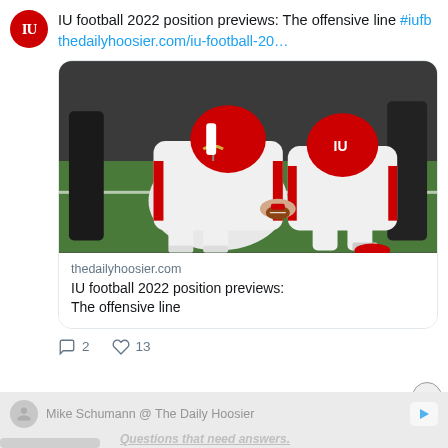IU football 2022 position previews: The offensive line #iufb thedailyhoosier.com/iu-football-20...
[Figure (photo): Two Indiana University football players in white and red uniforms at the line of scrimmage during practice]
thedailyhoosier.com
IU football 2022 position previews: The offensive line
2  13
Mike Schumann @ The Daily Hoosier
Questions that need answers.